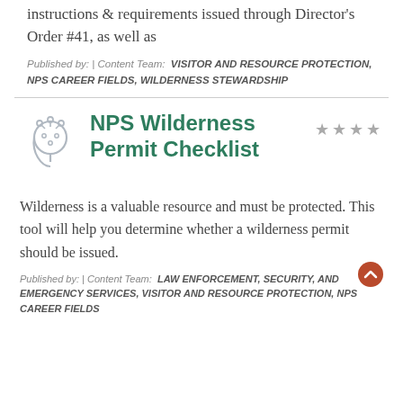instructions & requirements issued through Director's Order #41, as well as
Published by: | Content Team: VISITOR AND RESOURCE PROTECTION, NPS CAREER FIELDS, WILDERNESS STEWARDSHIP
NPS Wilderness Permit Checklist
Wilderness is a valuable resource and must be protected. This tool will help you determine whether a wilderness permit should be issued.
Published by: | Content Team: LAW ENFORCEMENT, SECURITY, AND EMERGENCY SERVICES, VISITOR AND RESOURCE PROTECTION, NPS CAREER FIELDS